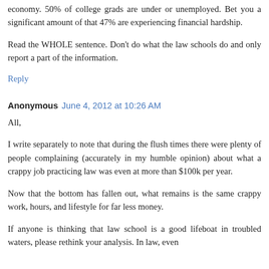economy. 50% of college grads are under or unemployed. Bet you a significant amount of that 47% are experiencing financial hardship.
Read the WHOLE sentence. Don't do what the law schools do and only report a part of the information.
Reply
Anonymous  June 4, 2012 at 10:26 AM
All,
I write separately to note that during the flush times there were plenty of people complaining (accurately in my humble opinion) about what a crappy job practicing law was even at more than $100k per year.
Now that the bottom has fallen out, what remains is the same crappy work, hours, and lifestyle for far less money.
If anyone is thinking that law school is a good lifeboat in troubled waters, please rethink your analysis. In law, even